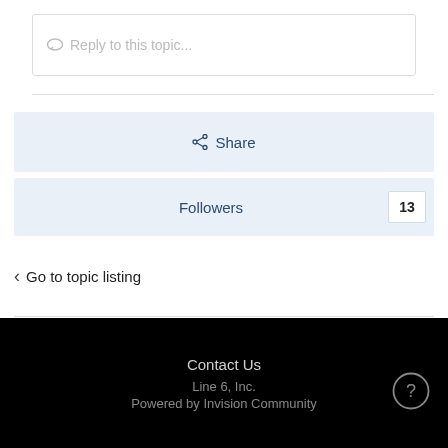Reply to this topic...
Share
Followers  13
Go to topic listing
Contact Us
Line 6, Inc.
Powered by Invision Community